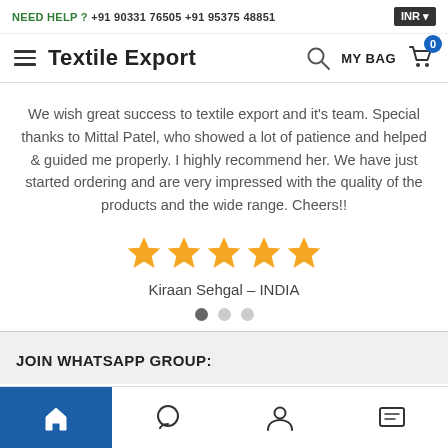NEED HELP ? +91 90331 76505  +91 95375 48851  INR
Textile Export
We wish great success to textile export and it's team. Special thanks to Mittal Patel, who showed a lot of patience and helped & guided me properly. I highly recommend her. We have just started ordering and are very impressed with the quality of the products and the wide range. Cheers!!
[Figure (other): Five gold star rating icons]
Kiraan Sehgal – INDIA
JOIN WHATSAPP GROUP:
Home | WhatsApp | Account | Messages